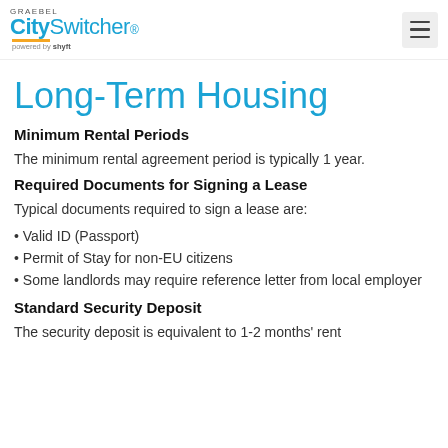GRAEBEL CitySwitcher® powered by shyft
Long-Term Housing
Minimum Rental Periods
The minimum rental agreement period is typically 1 year.
Required Documents for Signing a Lease
Typical documents required to sign a lease are:
Valid ID (Passport)
Permit of Stay for non-EU citizens
Some landlords may require reference letter from local employer
Standard Security Deposit
The security deposit is equivalent to 1-2 months' rent